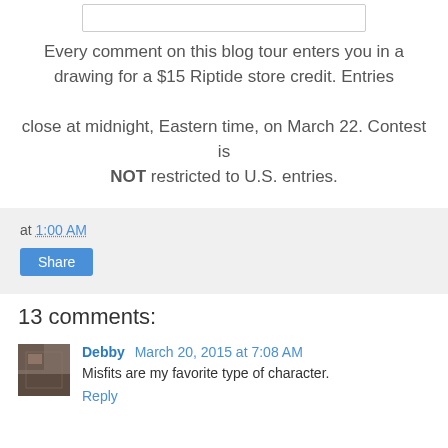[Figure (other): Top white box/input field at the top of the page]
Every comment on this blog tour enters you in a drawing for a $15 Riptide store credit. Entries close at midnight, Eastern time, on March 22. Contest is NOT restricted to U.S. entries.
at 1:00 AM
Share
13 comments:
Debby March 20, 2015 at 7:08 AM
Misfits are my favorite type of character.
Reply